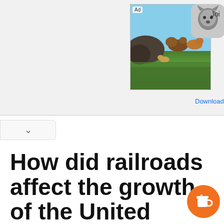[Figure (screenshot): Advertisement banner showing animals (cattle, deer) in a grassy landscape with blue sky. Ad label visible in top left of banner. Wolf icon beside banner with 'Joi' text. Download link below.]
How did railroads affect the growth of the United States?
Eventually railways lowered the cost of transporting many kinds of goods across great distances. These advances in transport helped drive settlement in the western regions of North America. They also essential to the nation's